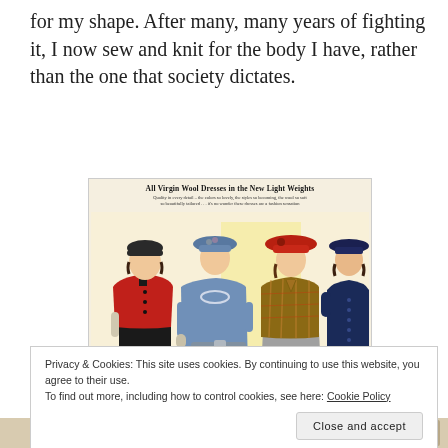for my shape. After many, many years of fighting it, I now sew and knit for the body I have, rather than the one that society dictates.
[Figure (illustration): Vintage fashion advertisement showing four women in 1940s wool dresses and suits with hats. Title reads 'All Virgin Wool Dresses in the New Light Weights'. Subtext: 'Quality in every detail – the colors so lovely, the styles so becoming, the wool so soft so beautifully tailored ... it's no wonder these dresses are a fashion sensation']
Privacy & Cookies: This site uses cookies. By continuing to use this website, you agree to their use.
To find out more, including how to control cookies, see here: Cookie Policy
Close and accept